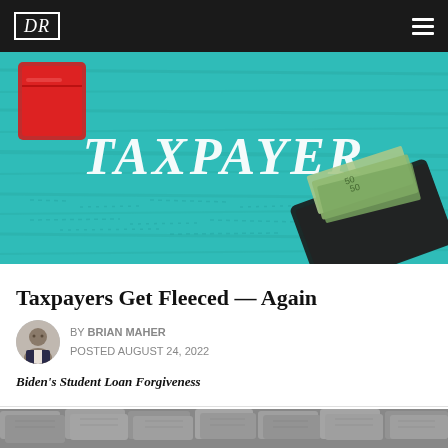DR
[Figure (photo): Teal/turquoise wooden background with the word TAXPAYER written in large white italic text. A black wallet with US dollar bills is visible in the lower right. A red card is partially visible in the upper left corner.]
Taxpayers Get Fleeced — Again
BY BRIAN MAHER
POSTED AUGUST 24, 2022
Biden's Student Loan Forgiveness
[Figure (photo): Black and white aerial photo of many US dollar bills spread out covering the entire frame.]